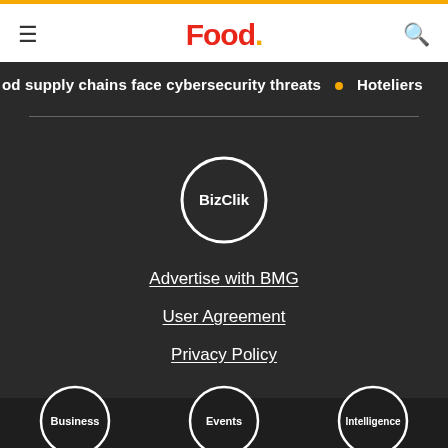Food.
od supply chains face cybersecurity threats • Hoteliers
[Figure (logo): BizClik circular logo with white circle border and white text on dark background]
Advertise with BMG
User Agreement
Privacy Policy
[Figure (logo): Three circular logos: Business, Events, Intelligence]
Business  Events  Intelligence